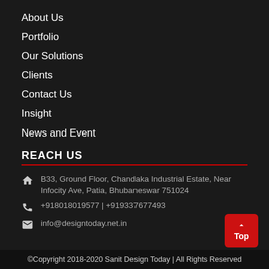About Us
Portfolio
Our Solutions
Clients
Contact Us
Insight
News and Event
REACH US
B33, Ground Floor, Chandaka Industrial Estate, Near Infocity Ave, Patia, Bhubaneswar 751024
+918018019577 | +919337677493
info@designtoday.net.in
©Copyright 2018-2020 Sanit Design Today | All Rights Reserved